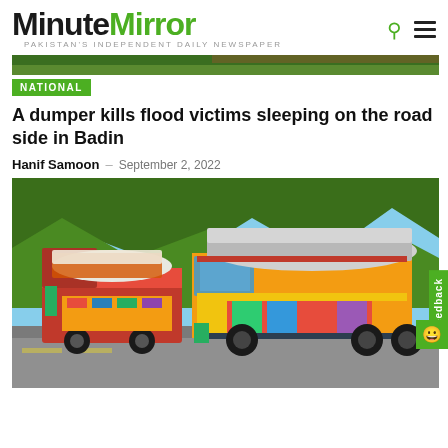MinuteMirror — PAKISTAN'S INDEPENDENT DAILY NEWSPAPER
NATIONAL
A dumper kills flood victims sleeping on the road side in Badin
Hanif Samoon – September 2, 2022
[Figure (photo): A row of colorfully decorated Pakistani trucks (dumpers) with canvas tarps, driving on a mountain road with green hills in the background.]